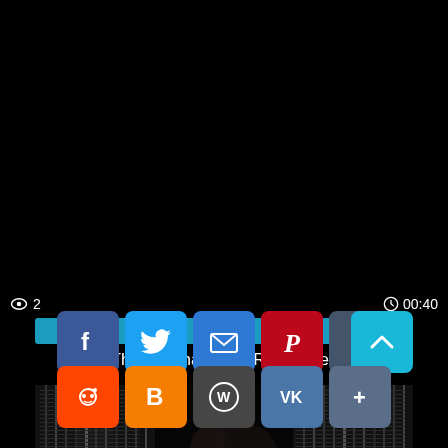2
00:40
0%
This Is What I Call Rough Sex
[Figure (screenshot): Dark thumbnail image with horizontal stripe pattern and silhouetted figures, with social sharing icons overlaid at bottom]
[Figure (infographic): Row of social share icons: Facebook, Twitter, Email, Pinterest, Tumblr, and scroll-to-top button]
[Figure (infographic): Row of social share icons: Reddit, Blogger, WordPress, VK, More]